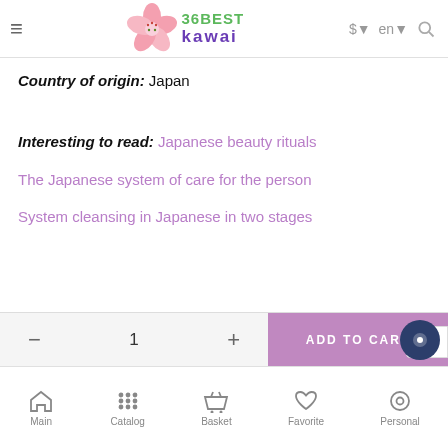36BEST kawai — $ en search
Country of origin: Japan
Interesting to read: Japanese beauty rituals
The Japanese system of care for the person
System cleansing in Japanese in two stages
Main | Catalog | Basket | Favorite | Personal